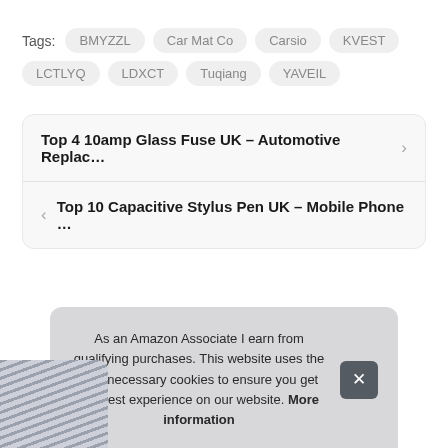Tags: BMYZZL  Car Mat Co  Carsio  KVEST  LCTLYQ  LDXCT  Tuqiang  YAVEIL
Top 4 10amp Glass Fuse UK – Automotive Replac…
Top 10 Capacitive Stylus Pen UK – Mobile Phone …
As an Amazon Associate I earn from qualifying purchases. This website uses the only necessary cookies to ensure you get the best experience on our website. More information